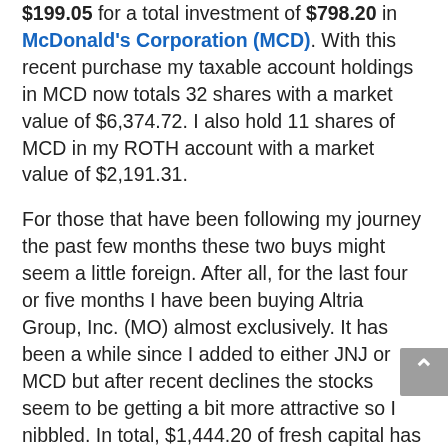$199.05 for a total investment of $798.20 in McDonald's Corporation (MCD). With this recent purchase my taxable account holdings in MCD now totals 32 shares with a market value of $6,374.72. I also hold 11 shares of MCD in my ROTH account with a market value of $2,191.31.
For those that have been following my journey the past few months these two buys might seem a little foreign. After all, for the last four or five months I have been buying Altria Group, Inc. (MO) almost exclusively. It has been a while since I added to either JNJ or MCD but after recent declines the stocks seem to be getting a bit more attractive so I nibbled. In total, $1,444.20 of fresh capital has been added in October. Barring some huge decline in the next week or so my next buy won't be till November.